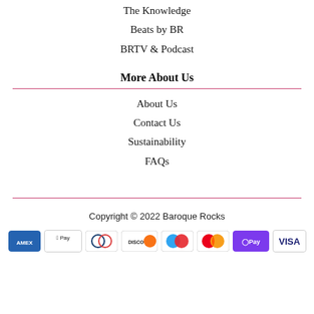The Knowledge
Beats by BR
BRTV & Podcast
More About Us
About Us
Contact Us
Sustainability
FAQs
Copyright © 2022 Baroque Rocks
[Figure (other): Payment method icons: American Express, Apple Pay, Diners Club, Discover, Maestro, Mastercard, Google Pay, Visa]